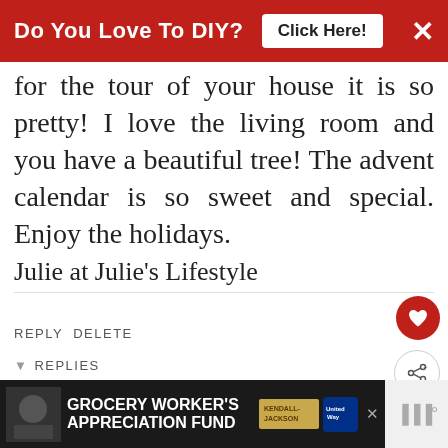Do You Love To DIY? Click Here!
for the tour of your house it is so pretty! I love the living room and you have a beautiful tree! The advent calendar is so sweet and special. Enjoy the holidays.
Julie at Julie's Lifestyle
REPLY DELETE
REPLIES
Kim
DECEMBER 11, 2013 AT 11
Thanks so much Julie. You just made my day!
WHAT'S NEXT → Real Life Christmas...
GROCERY WORKER'S APPRECIATION FUND